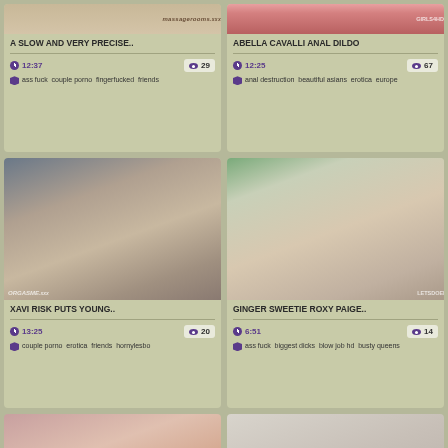[Figure (screenshot): Thumbnail image for 'A SLOW AND VERY PRECISE..' video with massage branding watermark]
A SLOW AND VERY PRECISE..
12:37  29  ass fuck  couple porno  fingerfucked  friends
[Figure (screenshot): Thumbnail image for 'ABELLA CAVALLI ANAL DILDO' video]
ABELLA CAVALLI ANAL DILDO
12:25  67  anal destruction  beautiful asians  erotica  europe
[Figure (screenshot): Thumbnail image for 'XAVI RISK PUTS YOUNG..' video with ORGASME watermark]
XAVI RISK PUTS YOUNG..
13:25  20  couple porno  erotica  friends  hornylesbo
[Figure (screenshot): Thumbnail image for 'GINGER SWEETIE ROXY PAIGE..' video]
GINGER SWEETIE ROXY PAIGE..
6:51  14  ass fuck  biggest dicks  blow job hd  busty queens
[Figure (screenshot): Partial thumbnail image bottom left]
[Figure (screenshot): Partial thumbnail image bottom right]